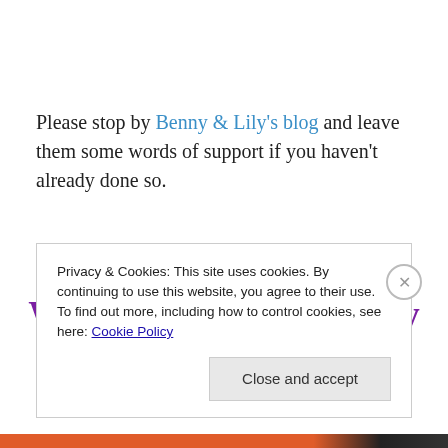Please stop by Benny & Lily's blog and leave them some words of support if you haven't already done so.
We love you Benny, Lily and Andrea!
Privacy & Cookies: This site uses cookies. By continuing to use this website, you agree to their use.
To find out more, including how to control cookies, see here: Cookie Policy